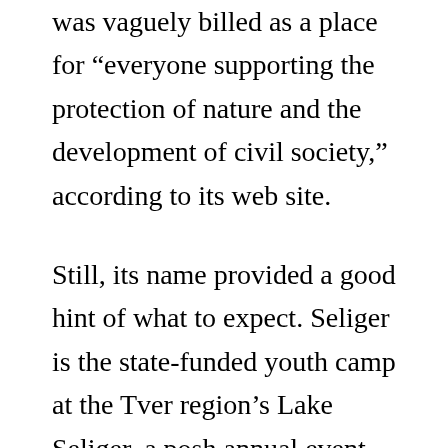was vaguely billed as a place for “everyone supporting the protection of nature and the development of civil society,” according to its web site.
Still, its name provided a good hint of what to expect. Seliger is the state-funded youth camp at the Tver region’s Lake Seliger, a posh annual event that educates pro-Kremlin youth on innovation, healthy lifestyle and effective ways to support the government. This year’s camp has